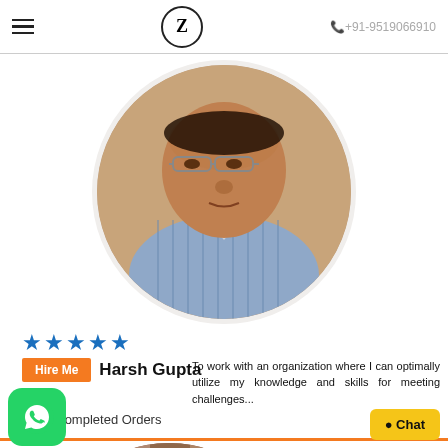≡  Z  +91-9519066910
[Figure (photo): Circular profile photo of Harsh Gupta, a middle-aged man wearing glasses and a blue striped shirt]
★★★★★
Hire Me   Harsh Gupta
To work with an organization where I can optimally utilize my knowledge and skills for meeting challenges...
109 - Completed Orders
[Figure (photo): Partial circular profile photo of a second person partially visible at bottom]
[Figure (logo): WhatsApp green button with phone icon at bottom left]
● Chat